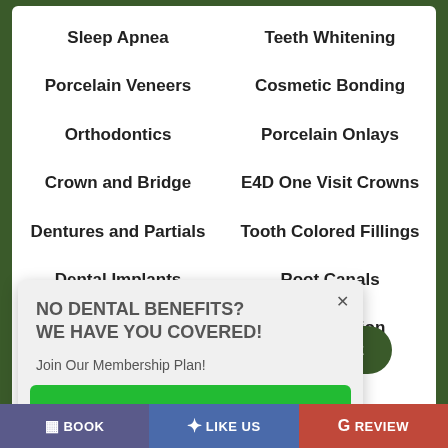Sleep Apnea
Teeth Whitening
Porcelain Veneers
Cosmetic Bonding
Orthodontics
Porcelain Onlays
Crown and Bridge
E4D One Visit Crowns
Dentures and Partials
Tooth Colored Fillings
Dental Implants
Root Canals
Botox and Dermal Fillers
Oral Sedation
VISIT OUR SLEEP APNEA SITE
NO DENTAL BENEFITS? WE HAVE YOU COVERED!
Join Our Membership Plan!
LEARN MORE
BOOK   LIKE US   REVIEW